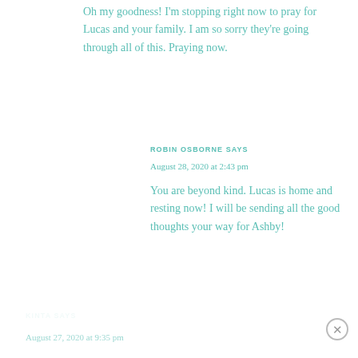Oh my goodness! I'm stopping right now to pray for Lucas and your family. I am so sorry they're going through all of this. Praying now.
ROBIN OSBORNE SAYS
August 28, 2020 at 2:43 pm
You are beyond kind. Lucas is home and resting now! I will be sending all the good thoughts your way for Ashby!
KINTA SAYS
August 27, 2020 at 9:35 pm